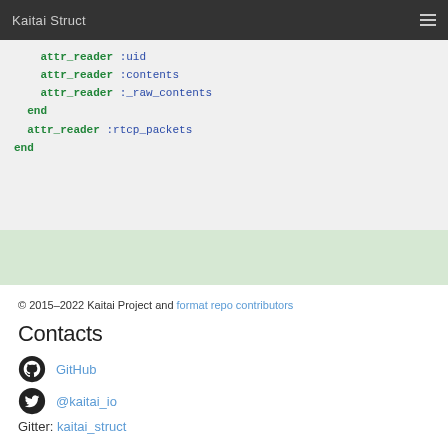Kaitai Struct
attr_reader :uid
    attr_reader :contents
    attr_reader :_raw_contents
  end
  attr_reader :rtcp_packets
end
© 2015–2022 Kaitai Project and format repo contributors
Contacts
GitHub
@kaitai_io
Gitter: kaitai_struct